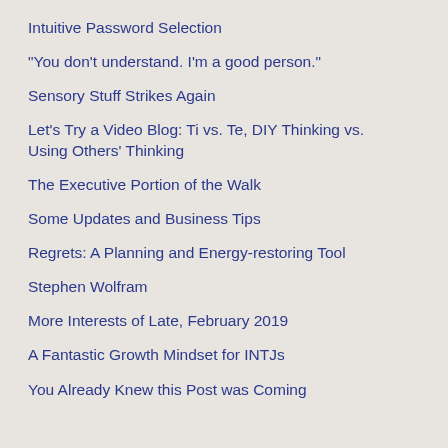Intuitive Password Selection
"You don't understand. I'm a good person."
Sensory Stuff Strikes Again
Let's Try a Video Blog: Ti vs. Te, DIY Thinking vs. Using Others' Thinking
The Executive Portion of the Walk
Some Updates and Business Tips
Regrets: A Planning and Energy-restoring Tool
Stephen Wolfram
More Interests of Late, February 2019
A Fantastic Growth Mindset for INTJs
You Already Knew this Post was Coming